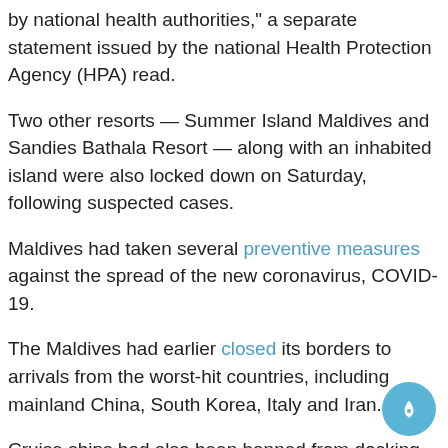by national health authorities," a separate statement issued by the national Health Protection Agency (HPA) read.
Two other resorts — Summer Island Maldives and Sandies Bathala Resort — along with an inhabited island were also locked down on Saturday, following suspected cases.
Maldives had taken several preventive measures against the spread of the new coronavirus, COVID-19.
The Maldives had earlier closed its borders to arrivals from the worst-hit countries, including mainland China, South Korea, Italy and Iran.
Cruise ships had also been banned from docking at any of the country's ports.
All direct flights to and from China, Italy, South Korea and Iran had also been cancelled.